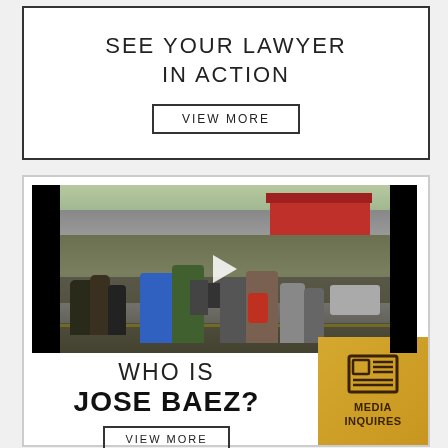SEE YOUR LAWYER IN ACTION
VIEW MORE
[Figure (photo): Video thumbnail showing a crowd of reporters and camera operators gathered outside on a street, with a commercial building featuring a red awning visible in the background. A video play button is overlaid on the image.]
WHO IS JOSE BAEZ?
VIEW MORE
MEDIA INQUIRES